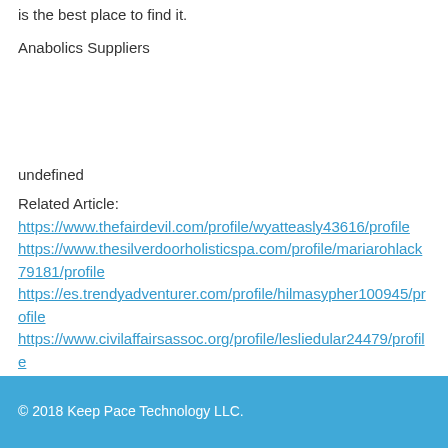is the best place to find it.
Anabolics Suppliers
undefined
Related Article:
https://www.thefairdevil.com/profile/wyatteasly43616/profile
https://www.thesilverdoorholisticspa.com/profile/mariarohlack79181/profile
https://es.trendyadventurer.com/profile/hilmasypher100945/profile
https://www.civilaffairsassoc.org/profile/lesliedular24479/profile
© 2018 Keep Pace Technology LLC.